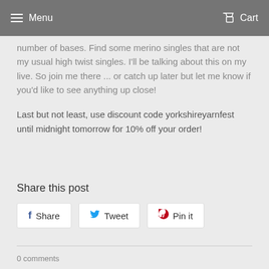Menu  Cart
number of bases. Find some merino singles that are not my usual high twist singles. I'll be talking about this on my live. So join me there ... or catch up later but let me know if you'd like to see anything up close!
Last but not least, use discount code yorkshireyarnfest until midnight tomorrow for 10% off your order!
Share this post
Share  Tweet  Pin it
0 comments